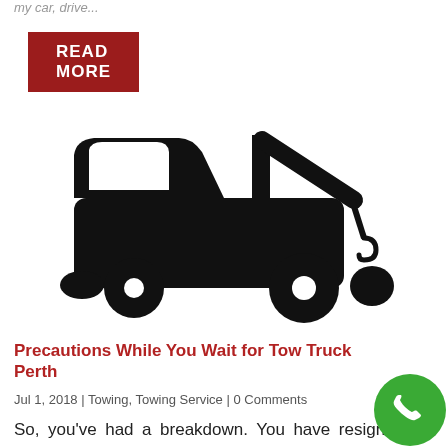my car, drive...
READ MORE
[Figure (illustration): Black silhouette icon of a tow truck facing right, with a crane arm and hook at the rear]
Precautions While You Wait for Tow Truck Perth
Jul 1, 2018 | Towing, Towing Service | 0 Comments
So, you've had a breakdown. You have resigned yourself to admit that you can't fix what's wrong with yo